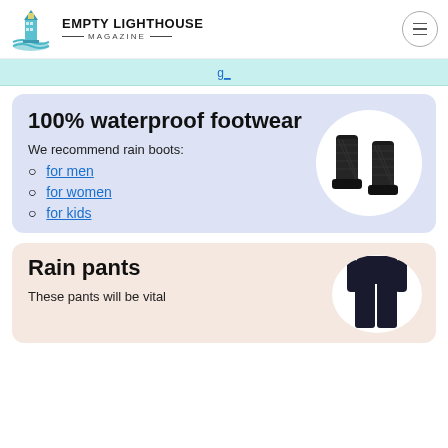EMPTY LIGHTHOUSE MAGAZINE
100% waterproof footwear
We recommend rain boots:
for men
for women
for kids
[Figure (photo): Black rain boots on white circular background]
Rain pants
These pants will be vital
[Figure (photo): Person wearing dark rain pants on white circular background]